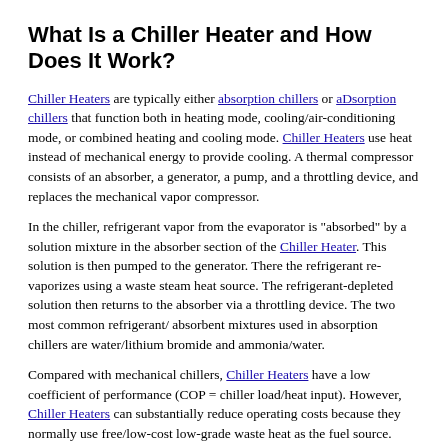What Is a Chiller Heater and How Does It Work?
Chiller Heaters are typically either absorption chillers or aDsorption chillers that function both in heating mode, cooling/air-conditioning mode, or combined heating and cooling mode. Chiller Heaters use heat instead of mechanical energy to provide cooling. A thermal compressor consists of an absorber, a generator, a pump, and a throttling device, and replaces the mechanical vapor compressor.
In the chiller, refrigerant vapor from the evaporator is "absorbed" by a solution mixture in the absorber section of the Chiller Heater. This solution is then pumped to the generator. There the refrigerant re-vaporizes using a waste steam heat source. The refrigerant-depleted solution then returns to the absorber via a throttling device. The two most common refrigerant/ absorbent mixtures used in absorption chillers are water/lithium bromide and ammonia/water.
Compared with mechanical chillers, Chiller Heaters have a low coefficient of performance (COP = chiller load/heat input). However, Chiller Heaters can substantially reduce operating costs because they normally use free/low-cost low-grade waste heat as the fuel source.  Vapor compression chillers...